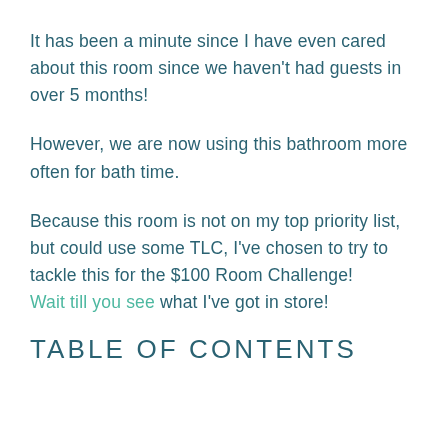It has been a minute since I have even cared about this room since we haven't had guests in over 5 months!
However, we are now using this bathroom more often for bath time.
Because this room is not on my top priority list, but could use some TLC, I've chosen to try to tackle this for the $100 Room Challenge! Wait till you see what I've got in store!
TABLE OF CONTENTS